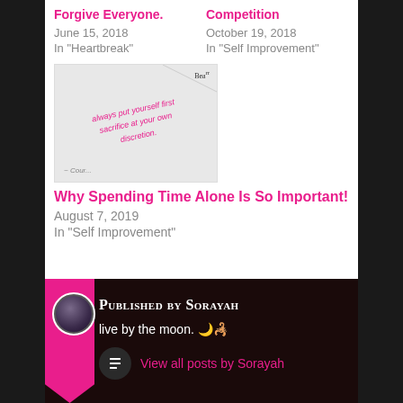Forgive Everyone.
June 15, 2018
In "Heartbreak"
Competition
October 19, 2018
In "Self Improvement"
[Figure (photo): Photo of a paper with pink cursive text reading 'always put yourself first sacrifice at your own discretion.' with small corner text.]
Why Spending Time Alone Is So Important!
August 7, 2019
In "Self Improvement"
Published by Sorayah
live by the moon. 🌙♏
View all posts by Sorayah